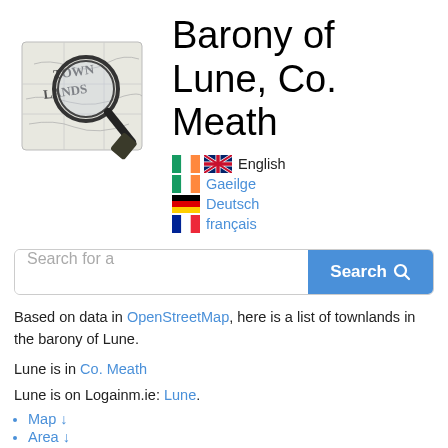[Figure (illustration): Townlands map logo: a stylized old map with a magnifying glass over text reading TOWN LANDS, with a pen/pencil, in greyscale]
Barony of Lune, Co. Meath
English
Gaeilge
Deutsch
français
[Figure (screenshot): Search bar with placeholder 'Search for a' and a blue Search button with magnifying glass icon]
Based on data in OpenStreetMap, here is a list of townlands in the barony of Lune.
Lune is in Co. Meath
Lune is on Logainm.ie: Lune.
Map ↓
Area ↓